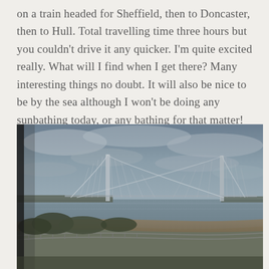on a train headed for Sheffield, then to Doncaster, then to Hull. Total travelling time three hours but you couldn't drive it any quicker. I'm quite excited really. What will I find when I get there? Many interesting things no doubt. It will also be nice to be by the sea although I won't be doing any sunbathing today, or any bathing for that matter!
[Figure (photo): View from a train window of a large suspension bridge (Humber Bridge) over a wide estuary under a grey overcast sky. Railway tracks and coastal vegetation visible in the foreground.]